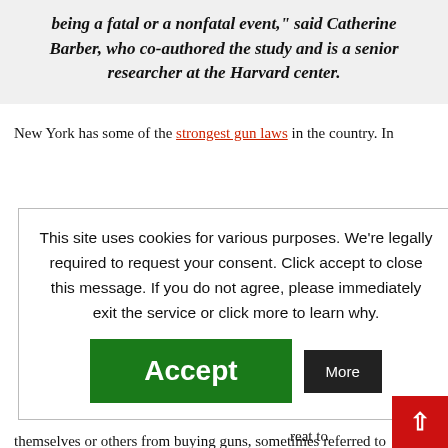being a fatal or a nonfatal event," said Catherine Barber, who co-authored the study and is a senior researcher at the Harvard center.
New York has some of the strongest gun laws in the country. In k Elementary ied its ban on stols and assault e loophole on alties for the use other things, urchases for nd check, and reat to themselves or others from buying guns, sometimes referred to
This site uses cookies for various purposes. We're legally required to request your consent. Click accept to close this message. If you do not agree, please immediately exit the service or click more to learn why.